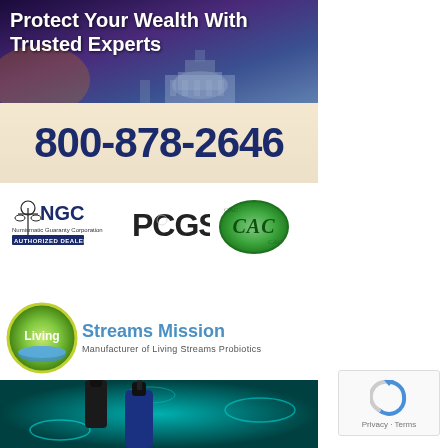[Figure (photo): Advertisement banner with US Capitol building background and text 'Protect Your Wealth With Trusted Experts']
[Figure (infographic): Phone number banner: 800-878-2646 on beige/tan background]
[Figure (logo): NGC Numismatic Guaranty Corporation Authorized Dealer, PCGS, and CAC logos]
[Figure (logo): Living Streams Mission logo with text 'Streams Mission' and 'Manufacturer of Living Streams Probiotics']
[Figure (photo): Teal/blue microscopic bacteria background with dropper bottles containing probiotics]
[Figure (other): reCAPTCHA widget with Privacy and Terms text]